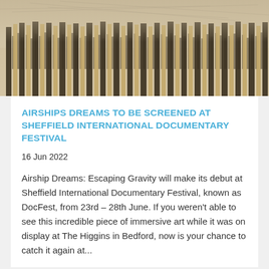[Figure (photo): Aerial or artistic photograph showing rows of tall dark rectangular structures (resembling buildings or fins) against a hazy, sandy-toned foggy sky, creating a surreal cityscape or sculptural field effect.]
AIRSHIPS DREAMS TO BE SCREENED AT SHEFFIELD INTERNATIONAL DOCUMENTARY FESTIVAL
16 Jun 2022
Airship Dreams: Escaping Gravity will make its debut at Sheffield International Documentary Festival, known as DocFest, from 23rd – 28th June. If you weren't able to see this incredible piece of immersive art while it was on display at The Higgins in Bedford, now is your chance to catch it again at...